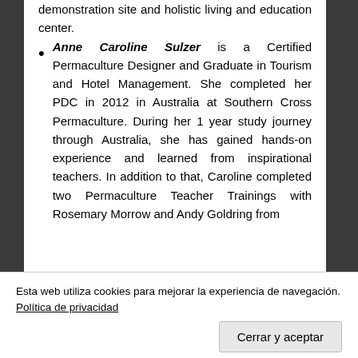demonstration site and holistic living and education center.
Anne Caroline Sulzer is a Certified Permaculture Designer and Graduate in Tourism and Hotel Management. She completed her PDC in 2012 in Australia at Southern Cross Permaculture. During her 1 year study journey through Australia, she has gained hands-on experience and learned from inspirational teachers. In addition to that, Caroline completed two Permaculture Teacher Trainings with Rosemary Morrow and Andy Goldring from
Esta web utiliza cookies para mejorar la experiencia de navegación. Política de privacidad
Cerrar y aceptar
Caroline is the founder of Finca Som Terra